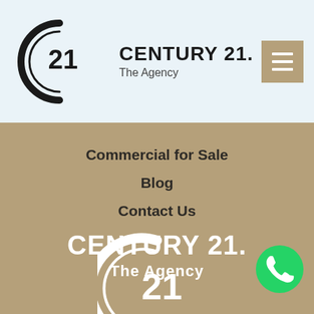[Figure (logo): Century 21 The Agency logo in header bar]
[Figure (other): Hamburger menu button in gold/tan color]
Commercial for Sale
Blog
Contact Us
[Figure (logo): Large Century 21 circular logo in white on gold background]
CENTURY 21. The Agency
[Figure (logo): WhatsApp green circle icon in bottom right corner]